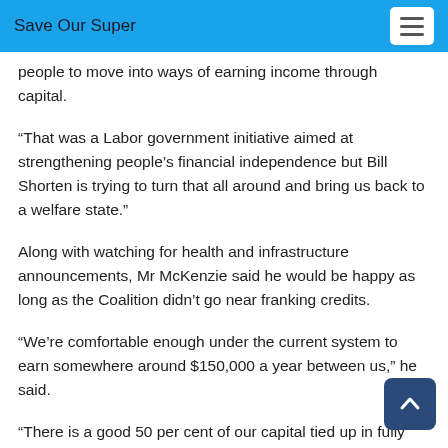Save Our Super
people to move into ways of earning income through capital.
“That was a Labor government initiative aimed at strengthening people’s financial independence but Bill Shorten is trying to turn that all around and bring us back to a welfare state.”
Along with watching for health and infrastructure announcements, Mr McKenzie said he would be happy as long as the Coalition didn’t go near franking credits.
“We’re comfortable enough under the current system to earn somewhere around $150,000 a year between us,” he said.
“There is a good 50 per cent of our capital tied up in fully